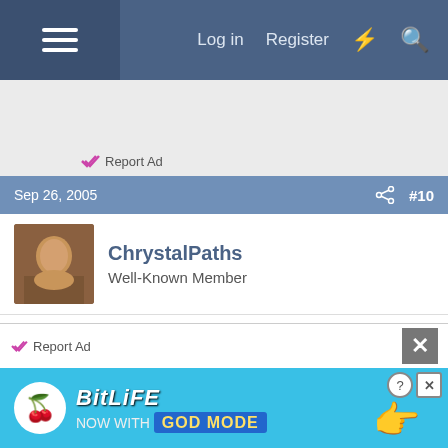Log in  Register
[Figure (other): Gray advertisement area with Report Ad link]
Sep 26, 2005  #10
ChrystalPaths
Well-Known Member
Well "I" read the entire thing and copied it to my meds file.

Thanks for nice words Pam, my friend. I did neglect to
[Figure (other): BitLife NOW WITH GOD MODE advertisement banner]